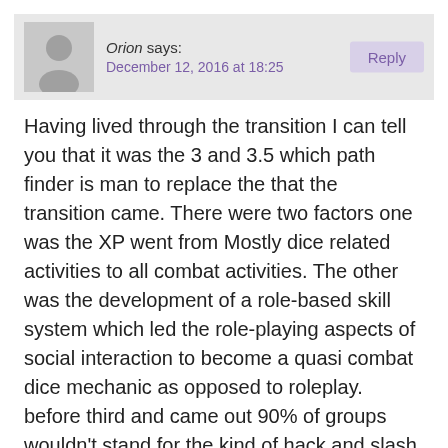Orion says: December 12, 2016 at 18:25
Having lived through the transition I can tell you that it was the 3 and 3.5 which path finder is man to replace the that the transition came. There were two factors one was the XP went from Mostly dice related activities to all combat activities. The other was the development of a role-based skill system which led the role-playing aspects of social interaction to become a quasi combat dice mechanic as opposed to roleplay. before third and came out 90% of groups wouldn't stand for the kind of hack and slash that has become normal by the time 3.5 was widely